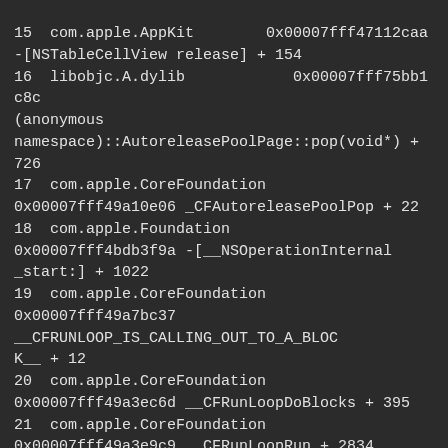15  com.apple.AppKit        0x00007fff47112caa -[NSTableCellView release] + 154
16  libobjc.A.dylib            0x00007fff75bb1c8c (anonymous namespace)::AutoreleasePoolPage::pop(void*) + 726
17  com.apple.CoreFoundation 0x00007fff49a10e06 _CFAutoreleasePoolPop + 22
18  com.apple.Foundation 0x00007fff4bdb3f9a -[__NSOperationInternal _start:] + 1022
19  com.apple.CoreFoundation 0x00007fff49a7bc37 __CFRUNLOOP_IS_CALLING_OUT_TO_A_BLOCK__ + 12
20  com.apple.CoreFoundation 0x00007fff49a3ec6d __CFRunLoopDoBlocks + 395
21  com.apple.CoreFoundation 0x00007fff49a3e9c9 __CFRunLoopRun + 2834